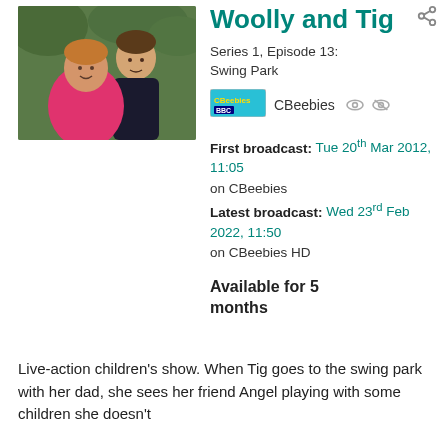[Figure (photo): Photo of a child and adult outdoors, child wearing pink jacket]
Woolly and Tig
Series 1, Episode 13: Swing Park
CBeebies
First broadcast: Tue 20th Mar 2012, 11:05 on CBeebies
Latest broadcast: Wed 23rd Feb 2022, 11:50 on CBeebies HD
Available for 5 months
Live-action children's show. When Tig goes to the swing park with her dad, she sees her friend Angel playing with some children she doesn't